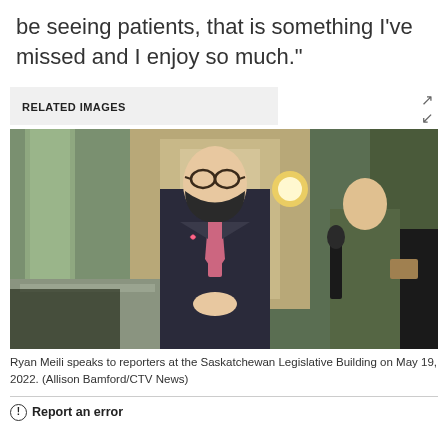be seeing patients, that is something I've missed and I enjoy so much."
RELATED IMAGES
[Figure (photo): Ryan Meili speaking to reporters at the Saskatchewan Legislative Building, wearing a dark suit, pink tie, and black face mask, with reporters holding microphones around him. The building interior shows ornate green marble columns and warm lighting.]
Ryan Meili speaks to reporters at the Saskatchewan Legislative Building on May 19, 2022. (Allison Bamford/CTV News)
Report an error